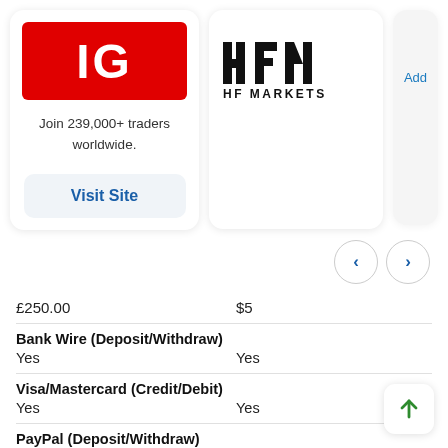[Figure (logo): IG broker card with red IG logo and 'Visit Site' button. Tagline: Join 239,000+ traders worldwide.]
[Figure (logo): HFM / HF Markets broker card with black and red logo]
[Figure (other): Partially visible third card with 'Add' text link]
£250.00
$5
Bank Wire (Deposit/Withdraw)
Yes
Yes
Visa/Mastercard (Credit/Debit)
Yes
Yes
PayPal (Deposit/Withdraw)
Yes